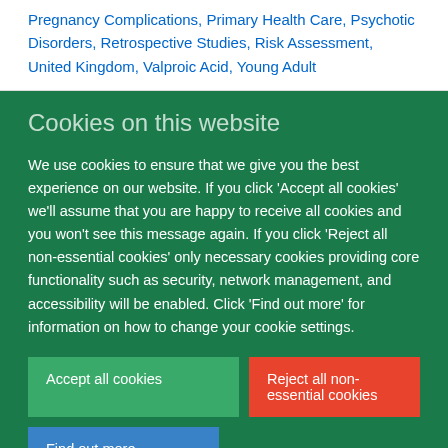Pregnancy Complications, Primary Health Care, Psychotic Disorders, Retrospective Studies, Risk Assessment, United Kingdom, Valproic Acid, Young Adult
Cookies on this website
We use cookies to ensure that we give you the best experience on our website. If you click 'Accept all cookies' we'll assume that you are happy to receive all cookies and you won't see this message again. If you click 'Reject all non-essential cookies' only necessary cookies providing core functionality such as security, network management, and accessibility will be enabled. Click 'Find out more' for information on how to change your cookie settings.